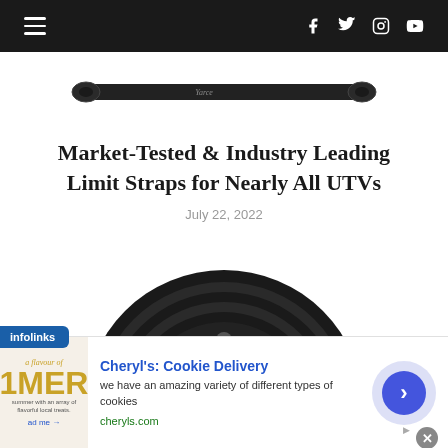Navigation bar with hamburger menu and social icons (Facebook, Twitter, Instagram, YouTube)
[Figure (photo): A black limit strap / leaf spring strap product photo on white background]
Market-Tested & Industry Leading Limit Straps for Nearly All UTVs
July 22, 2022
[Figure (photo): Close-up photo of a tire and alloy wheel on white background]
[Figure (screenshot): Advertisement banner: Cheryl's: Cookie Delivery - we have an amazing variety of different types of cookies - cheryls.com]